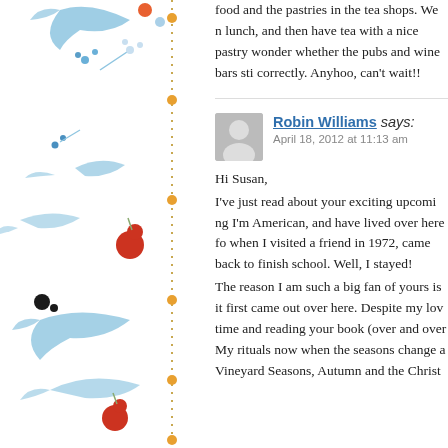food and the pastries in the tea shops. We n lunch, and then have tea with a nice pastry wonder whether the pubs and wine bars sti correctly. Anyhoo, can't wait!!
[Figure (illustration): Decorative left border with blue botanical/floral illustrations including stylized birds, flowers, berries (red and orange dots), and blue leaf/branch motifs on a white background, with a vertical dotted/dashed orange/gold line]
Robin Williams says:
April 18, 2012 at 11:13 am

Hi Susan,
I've just read about your exciting upcoming I'm American, and have lived over here fo when I visited a friend in 1972, came back to finish school. Well, I stayed!
The reason I am such a big fan of yours is it first came out over here. Despite my lov time and reading your book (over and over My rituals now when the seasons change a Vineyard Seasons, Autumn and the Christ